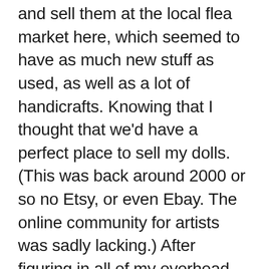and sell them at the local flea market here, which seemed to have as much new stuff as used, as well as a lot of handicrafts. Knowing that I thought that we'd have a perfect place to sell my dolls. (This was back around 2000 or so no Etsy, or even Ebay. The online community for artists was sadly lacking.) After figuring in all of my overhead, materials and paying myself a working wage mo one wanted to pay the price I had to charge for them. Folks down here would rather have a mass-produced made overseas piece of trash than a custom-produced one of a kind artwork. (Yes, I'm still a little bitter.) To give you an idea of what I was selling I can point you to a couple of my